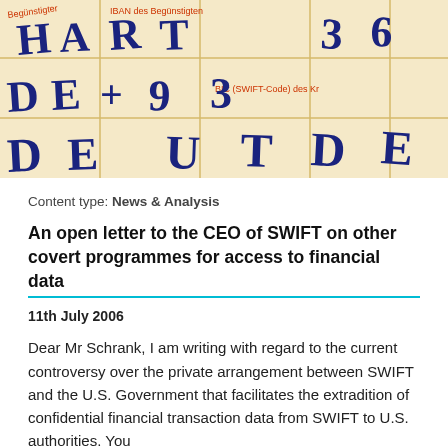[Figure (photo): Close-up photograph of a German bank transfer form showing fields for Begünstigter (beneficiary), IBAN des Begünstigten, and BIC (SWIFT-Code) des Kreditinstituts, filled with handwritten blue letters: H, A, R, T and DE+93... DEUTDE]
Content type: News & Analysis
An open letter to the CEO of SWIFT on other covert programmes for access to financial data
11th July 2006
Dear Mr Schrank, I am writing with regard to the current controversy over the private arrangement between SWIFT and the U.S. Government that facilitates the extradition of confidential financial transaction data from SWIFT to U.S. authorities. You